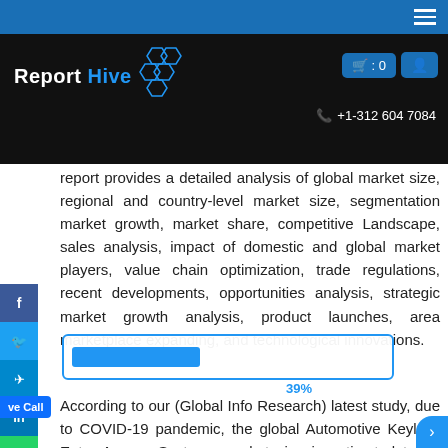Report Hive — +1-312 604 7084
report provides a detailed analysis of global market size, regional and country-level market size, segmentation market growth, market share, competitive Landscape, sales analysis, impact of domestic and global market players, value chain optimization, trade regulations, recent developments, opportunities analysis, strategic market growth analysis, product launches, area marketplace expanding, and technological innovations.
According to our (Global Info Research) latest study, due to COVID-19 pandemic, the global Automotive Keyless Entry Access Systems market size is estimated to be worth US$ 8844.6 million in 2021 and is forecast to a readjusted size of USD 15870 million by 2028 with a CAGR of 8.7% during review period. Aftermarkets, accounting for % of the